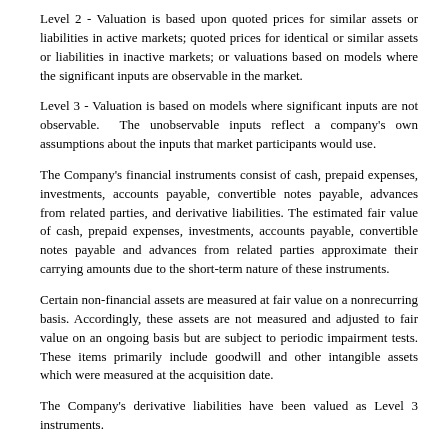Level 2 - Valuation is based upon quoted prices for similar assets or liabilities in active markets; quoted prices for identical or similar assets or liabilities in inactive markets; or valuations based on models where the significant inputs are observable in the market.
Level 3 - Valuation is based on models where significant inputs are not observable. The unobservable inputs reflect a company's own assumptions about the inputs that market participants would use.
The Company's financial instruments consist of cash, prepaid expenses, investments, accounts payable, convertible notes payable, advances from related parties, and derivative liabilities. The estimated fair value of cash, prepaid expenses, investments, accounts payable, convertible notes payable and advances from related parties approximate their carrying amounts due to the short-term nature of these instruments.
Certain non-financial assets are measured at fair value on a nonrecurring basis. Accordingly, these assets are not measured and adjusted to fair value on an ongoing basis but are subject to periodic impairment tests. These items primarily include goodwill and other intangible assets which were measured at the acquisition date.
The Company's derivative liabilities have been valued as Level 3 instruments.
| Level 1 | Level 2 | Level 3 | Total |
| --- | --- | --- | --- |
| Fair value of convertible notes |  |  |  |  |
Fair value of convertible notes